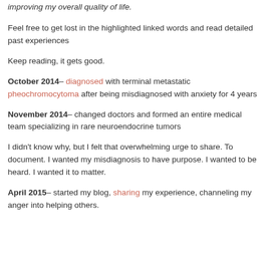improving my overall quality of life.
Feel free to get lost in the highlighted linked words and read detailed past experiences
Keep reading, it gets good.
October 2014– diagnosed with terminal metastatic pheochromocytoma after being misdiagnosed with anxiety for 4 years
November 2014– changed doctors and formed an entire medical team specializing in rare neuroendocrine tumors
I didn't know why, but I felt that overwhelming urge to share. To document. I wanted my misdiagnosis to have purpose. I wanted to be heard. I wanted it to matter.
April 2015– started my blog, sharing my experience, channeling my anger into helping others.